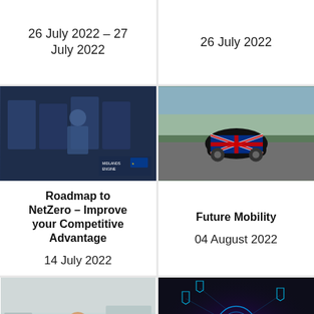26 July 2022 – 27 July 2022
26 July 2022
[Figure (photo): Person in tech/data center environment with Midlands Engine logo]
[Figure (photo): Small electric car wrapped in UK Union Jack flag on city street]
Roadmap to NetZero – Improve your Competitive Advantage
14 July 2022
Future Mobility
04 August 2022
[Figure (photo): Scientist in lab coat and blue gloves working in laboratory]
[Figure (photo): Cybersecurity concept with digital fingerprint and shield icons on dark background]